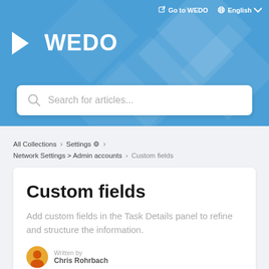[Figure (screenshot): WEDO help center hero banner with blue background, decorative diamond shapes, WEDO logo with play-button icon, search bar, top navigation with 'Go to WEDO' and 'English' language selector]
All Collections > Settings ⚙ > Network Settings > Admin accounts > Custom fields
Custom fields
Add custom fields in the Task Details panel to refine and structure the information.
Written by Chris Rohrbach